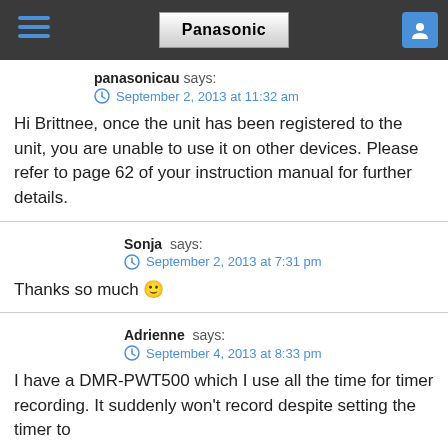Panasonic
panasonicau says:
September 2, 2013 at 11:32 am
Hi Brittnee, once the unit has been registered to the unit, you are unable to use it on other devices. Please refer to page 62 of your instruction manual for further details.
Sonja says:
September 2, 2013 at 7:31 pm
Thanks so much 🙂
Adrienne says:
September 4, 2013 at 8:33 pm
I have a DMR-PWT500 which I use all the time for timer recording. It suddenly won't record despite setting the timer to